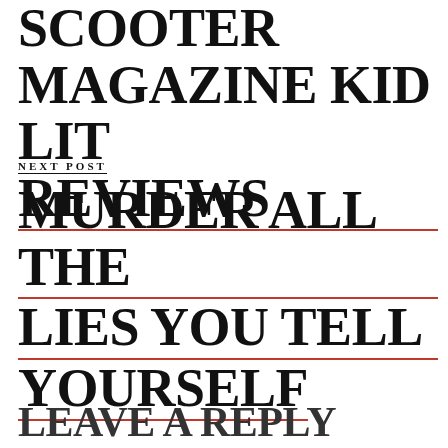SCOOTER MAGAZINE KID LIT REVIEWS
NEXT POST
MURDER ALL THE LIES YOU TELL YOURSELF
LEAVE A REPLY